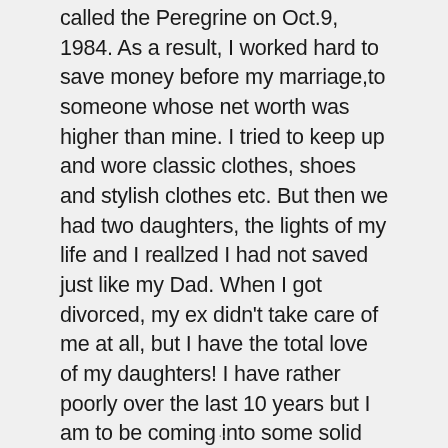called the Peregrine on Oct.9, 1984. As a result, I worked hard to save money before my marriage,to someone whose net worth was higher than mine. I tried to keep up and wore classic clothes, shoes and stylish clothes etc. But then we had two daughters, the lights of my life and I reallzed I had not saved just like my Dad. When I got divorced, my ex didn't take care of me at all, but I have the total love of my daughters! I have rather poorly over the last 10 years but I am to be coming into some solid money in the
...